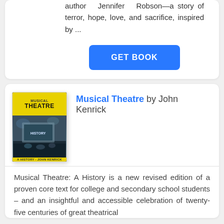author Jennifer Robson—a story of terror, hope, love, and sacrifice, inspired by ...
GET BOOK
Musical Theatre by John Kenrick
[Figure (photo): Book cover of Musical Theatre: A History by John Kenrick, with yellow and dark background]
Musical Theatre: A History is a new revised edition of a proven core text for college and secondary school students – and an insightful and accessible celebration of twenty-five centuries of great theatrical